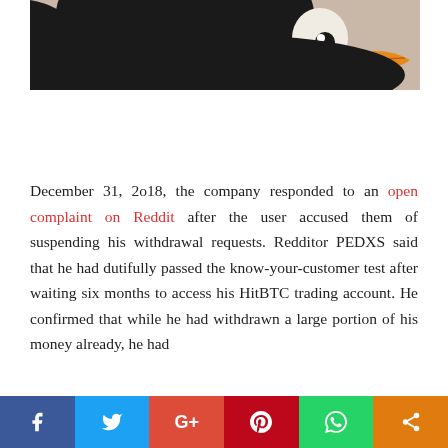[Figure (illustration): Partial view of a Linux Tux penguin illustration on a tan/beige background, showing the penguin's head and beak area in black and orange/yellow]
December 31, 2o18, the company responded to an open complaint on Reddit after the user accused them of suspending his withdrawal requests. Redditor PEDXS said that he had dutifully passed the know-your-customer test after waiting six months to access his HitBTC trading account. He confirmed that while he had withdrawn a large portion of his money already, he had
f  Twitter  G+  Pinterest  WhatsApp  Share